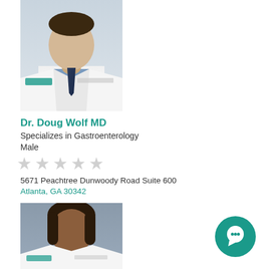[Figure (photo): Doctor in white coat, male, headshot photo for Dr. Doug Wolf MD]
Dr. Doug Wolf MD
Specializes in Gastroenterology
Male
[Figure (other): 5 empty/grey star rating icons]
5671 Peachtree Dunwoody Road Suite 600
Atlanta, GA 30342
[Figure (photo): Doctor in white coat, female, headshot photo (second doctor listing)]
[Figure (other): Teal circular chat/messaging button icon in bottom right corner]